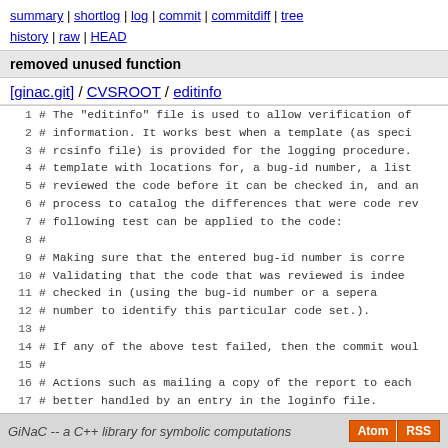summary | shortlog | log | commit | commitdiff | tree history | raw | HEAD
removed unused function
[ginac.git] / CVSROOT / editinfo
1  # The "editinfo" file is used to allow verification of
2  # information.  It works best when a template (as speci
3  # rcsinfo file) is provided for the logging procedure.
4  # template with locations for, a bug-id number, a list
5  # reviewed the code before it can be checked in, and an
6  # process to catalog the differences that were code rev
7  # following test can be applied to the code:
8  #
9  #   Making sure that the entered bug-id number is corre
10 #   Validating that the code that was reviewed is indee
11 #        checked in (using the bug-id number or a sepera
12 #        number to identify this particular code set.).
13 #
14 # If any of the above test failed, then the commit woul
15 #
16 # Actions such as mailing a copy of the report to each
17 # better handled by an entry in the loginfo file.
18 #
19 # One thing that should be noted is the the ALL keyword
20 # supported.  There can be only one entry that matches
21 # repository.
GiNaC -- a C++ library for symbolic computations  Atom RSS